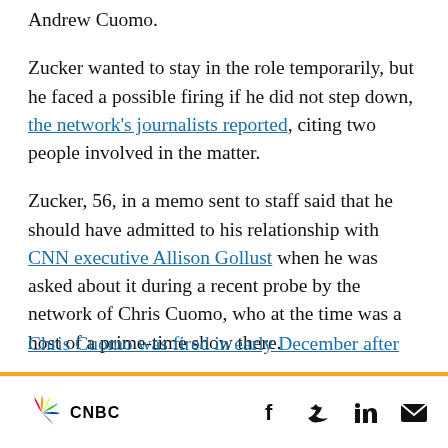Andrew Cuomo.
Zucker wanted to stay in the role temporarily, but he faced a possible firing if he did not step down, the network's journalists reported, citing two people involved in the matter.
Zucker, 56, in a memo sent to staff said that he should have admitted to his relationship with CNN executive Allison Gollust when he was asked about it during a recent probe by the network of Chris Cuomo, who at the time was a host of a prime-time show there.
Chris Cuomo was fired in early December after...
CNBC [logo] | Facebook | Twitter | LinkedIn | Email